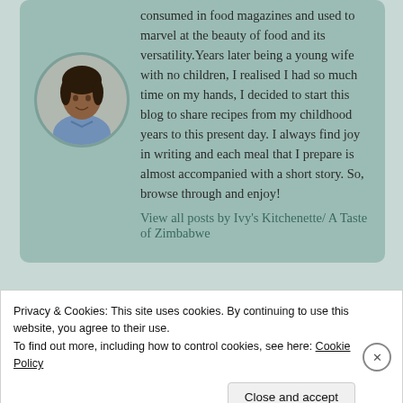[Figure (photo): Circular portrait photo of a woman in a blue shirt, sitting at a table, smiling]
consumed in food magazines and used to marvel at the beauty of food and its versatility.Years later being a young wife with no children, I realised I had so much time on my hands, I decided to start this blog to share recipes from my childhood years to this present day. I always find joy in writing and each meal that I prepare is almost accompanied with a short story. So, browse through and enjoy!
View all posts by Ivy's Kitchenette/ A Taste of Zimbabwe
Privacy & Cookies: This site uses cookies. By continuing to use this website, you agree to their use.
To find out more, including how to control cookies, see here: Cookie Policy
Close and accept